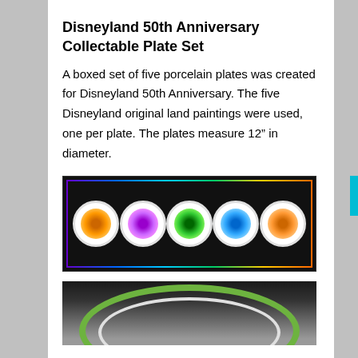Disneyland 50th Anniversary Collectable Plate Set
A boxed set of five porcelain plates was created for Disneyland 50th Anniversary. The five Disneyland original land paintings were used, one per plate. The plates measure 12” in diameter.
[Figure (photo): A boxed set of five collectible porcelain plates displayed side by side in a black box with a colorful border. Each plate shows a different Disneyland original land painting.]
[Figure (photo): Close-up of one of the Disneyland collectible plates showing a green and white rim against a dark background.]